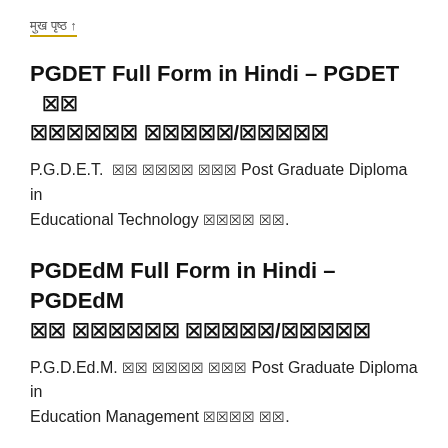मुख पृष्ठ ↑
PGDET Full Form in Hindi – PGDET का पूर्ण रूप/मतलब
P.G.D.E.T. का पूरा नाम Post Graduate Diploma in Educational Technology होता है.
PGDEdM Full Form in Hindi – PGDEdM का पूर्ण रूप/मतलब
P.G.D.Ed.M. का पूरा नाम Post Graduate Diploma in Education Management होता है.
PGDFD Full Form in Hindi – PGDFD का पूर्ण रूप/मतलब